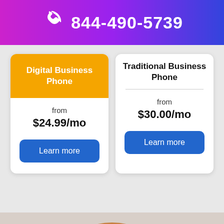844-490-5739
Digital Business Phone
from $24.99/mo
Traditional Business Phone
from $30.00/mo
[Figure (illustration): Person with reddish-brown hair visible at bottom of page]